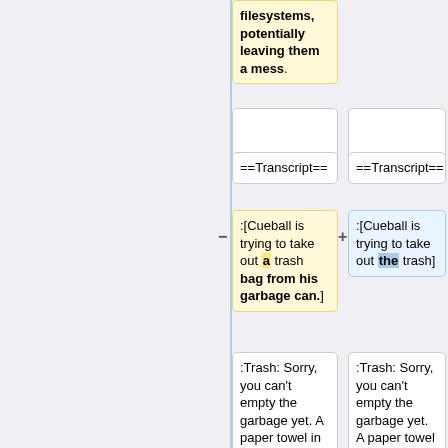filesystems, potentially leaving them a mess.
==Transcript==
==Transcript==
:[Cueball is trying to take out a trash bag from his garbage can.]
:[Cueball is trying to take out the trash]
:Trash: Sorry, you can't empty the garbage yet. A paper towel in here is currently in use by some
:Trash: Sorry, you can't empty the garbage yet. A paper towel in here is currently in use by some